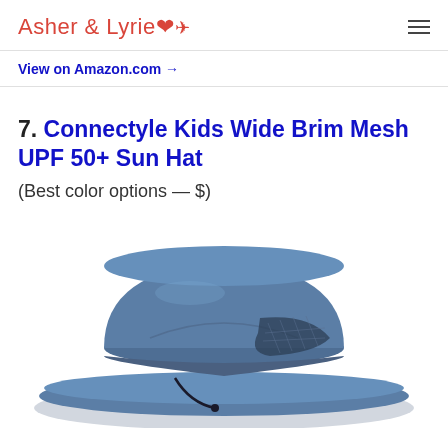Asher & Lyrie
View on Amazon.com →
7. Connectyle Kids Wide Brim Mesh UPF 50+ Sun Hat
(Best color options — $)
[Figure (photo): A blue wide-brim kids sun hat (Connectyle Kids Wide Brim Mesh UPF 50+ Sun Hat) shown from the side, featuring a mesh ventilation panel and chin strap drawcord.]